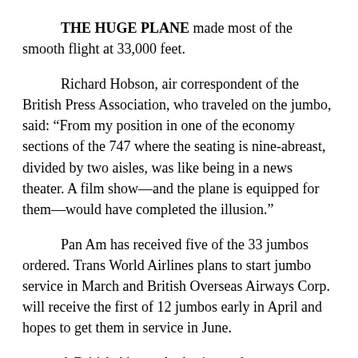THE HUGE PLANE made most of the smooth flight at 33,000 feet.
Richard Hobson, air correspondent of the British Press Association, who traveled on the jumbo, said: “From my position in one of the economy sections of the 747 where the seating is nine-abreast, divided by two aisles, was like being in a news theater. A film show—and the plane is equipped for them—would have completed the illusion.”
Pan Am has received five of the 33 jumbos ordered. Trans World Airlines plans to start jumbo service in March and British Overseas Airways Corp. will receive the first of 12 jumbos early in April and hopes to get them in service in June.
A British Airport Authority spokesman reported the first passenger cleared all baggage and airport formalities 34